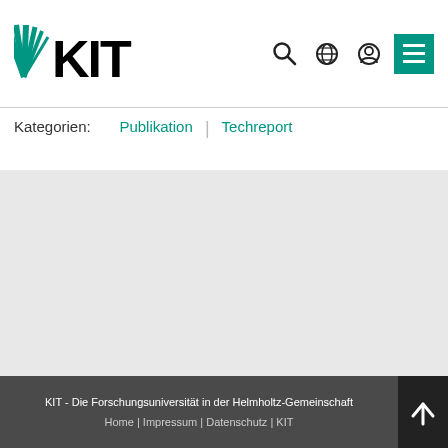[Figure (logo): KIT (Karlsruher Institut für Technologie) logo with green fan/rays and bold KIT lettering]
[Figure (screenshot): Navigation icons: search magnifier, globe, user/person, green hamburger menu button]
Kategorien:  Publikation  |  Techreport
[Figure (logo): Powered by MediaWiki badge (small, with leaf icon)]
[Figure (logo): Powered by Semantic MediaWiki badge (blue/orange sunflower icon)]
KIT - Die Forschungsuniversität in der Helmholtz-Gemeinschaft
Home | Impressum | Datenschutz | KIT